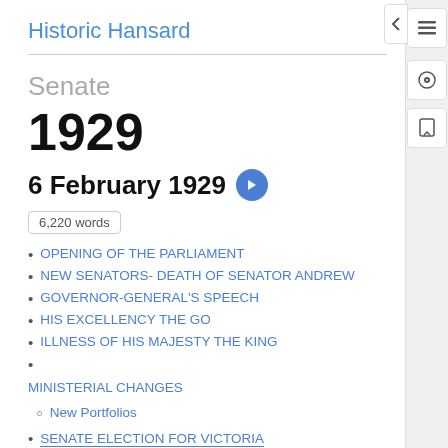Historic Hansard
Senate
1929
6 February 1929
6,220 words
OPENING OF THE PARLIAMENT
NEW SENATORS- DEATH OF SENATOR ANDREW
GOVERNOR-GENERAL'S SPEECH
HIS EXCELLENCY THE GO
ILLNESS OF HIS MAJESTY THE KING
MINISTERIAL CHANGES
New Portfolios
SENATE ELECTION FOR VICTORIA